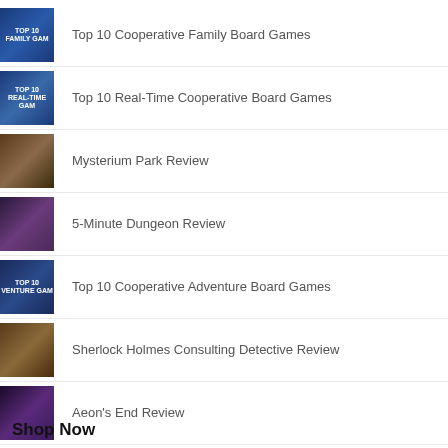Top 10 Cooperative Family Board Games
Top 10 Real-Time Cooperative Board Games
Mysterium Park Review
5-Minute Dungeon Review
Top 10 Cooperative Adventure Board Games
Sherlock Holmes Consulting Detective Review
Aeon's End Review
Shop Now